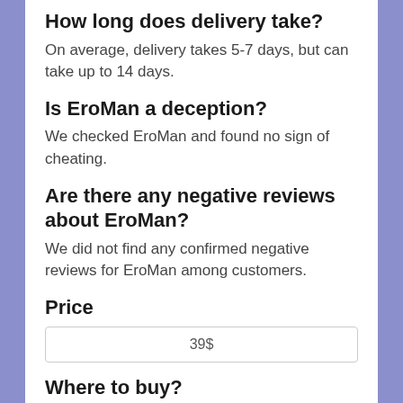How long does delivery take?
On average, delivery takes 5-7 days, but can take up to 14 days.
Is EroMan a deception?
We checked EroMan and found no sign of cheating.
Are there any negative reviews about EroMan?
We did not find any confirmed negative reviews for EroMan among customers.
Price
39$
Where to buy?